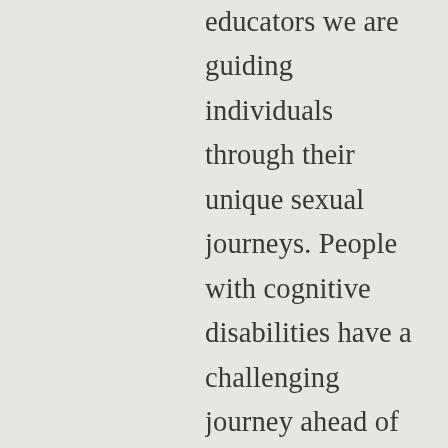educators we are guiding individuals through their unique sexual journeys. People with cognitive disabilities have a challenging journey ahead of them because of barriers to education that are perpetuated by myths about how these individuals relate in society. It is our job as advocates to understand the barriers and work to push through them so that we can help